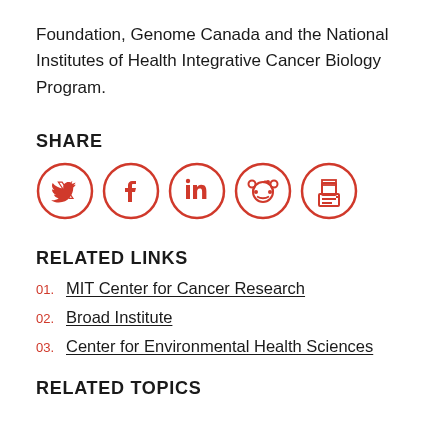Foundation, Genome Canada and the National Institutes of Health Integrative Cancer Biology Program.
SHARE
[Figure (other): Social share icons: Twitter, Facebook, LinkedIn, Reddit, Print — all in red circles]
RELATED LINKS
01. MIT Center for Cancer Research
02. Broad Institute
03. Center for Environmental Health Sciences
RELATED TOPICS